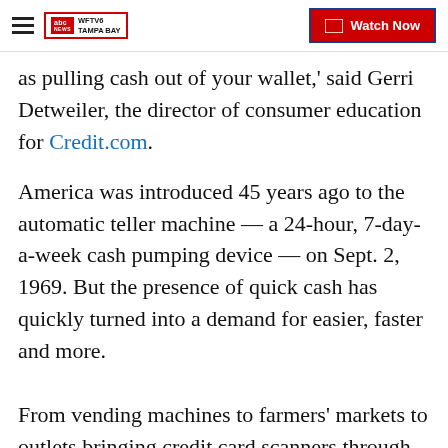WFTV Tampa Bay — Watch Now
as pulling cash out of your wallet,' said Gerri Detweiler, the director of consumer education for Credit.com.
America was introduced 45 years ago to the automatic teller machine — a 24-hour, 7-day-a-week cash pumping device — on Sept. 2, 1969. But the presence of quick cash has quickly turned into a demand for easier, faster and more.
From vending machines to farmers' markets to outlets bringing credit card scanners through store aisles, many retailers are making every effort to make purchases easier for consumers.